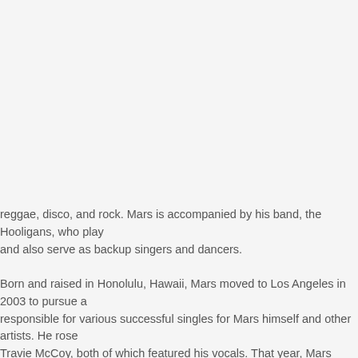reggae, disco, and rock. Mars is accompanied by his band, the Hooligans, who play and also serve as backup singers and dancers.
Born and raised in Honolulu, Hawaii, Mars moved to Los Angeles in 2003 to pursue a responsible for various successful singles for Mars himself and other artists. He rose Travie McCoy, both of which featured his vocals. That year, Mars released his debut spawned the international number-one singles "Just the Way You Are", "Grenade", a his second studio album, Unorthodox Jukebox (2012), was his first number one on th Heaven" and "When I Was Your Man".
In 2014, Mars was featured on Mark Ronson's "Uptown Funk", which topped various and the UK Singles Chart, respectively. Mars's third studio album, the R&B-focused, Album of the Year, Record of the Year, and Song of the Year. The album also yielded number-one single, and a remix of "Finesse" featuring Cardi B. In 2021, Mars collabo Sonic, whose single "Leave the Door Open" topped the Billboard Hot 100.
Mars has sold over 130 million records worldwide, making him one of the best-selling 100 since his career launched in 2010, attaining his first five faster than any male a